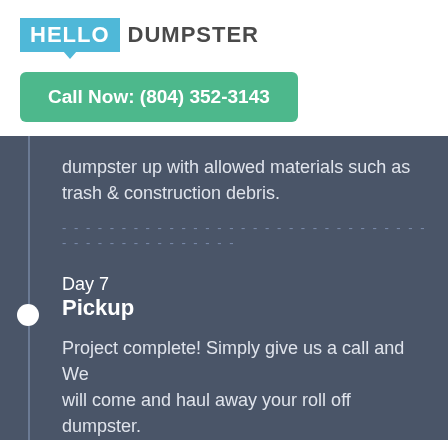[Figure (logo): Hello Dumpster logo with blue speech-bubble style box containing HELLO in white, followed by DUMPSTER in dark gray]
Call Now: (804) 352-3143
dumpster up with allowed materials such as trash & construction debris.
Day 7
Pickup
Project complete! Simply give us a call and We will come and haul away your roll off dumpster.